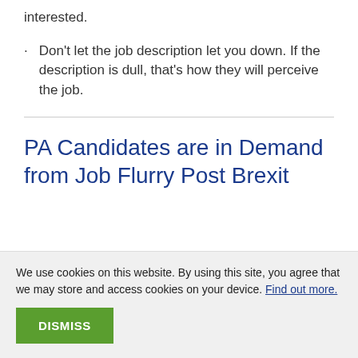interested.
· Don't let the job description let you down. If the description is dull, that's how they will perceive the job.
PA Candidates are in Demand from Job Flurry Post Brexit
We use cookies on this website. By using this site, you agree that we may store and access cookies on your device. Find out more.